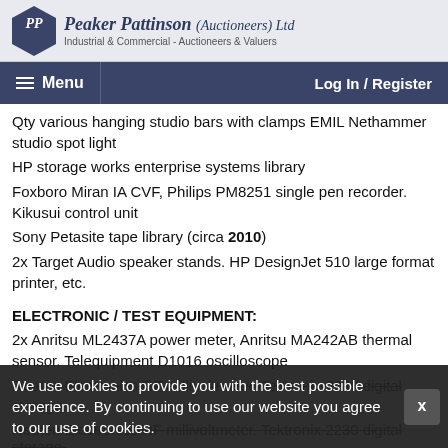[Figure (logo): Peaker Pattinson (Auctioneers) Ltd logo with PP diamond emblem and company name in italic script]
Menu  Log In / Register
Qty various hanging studio bars with clamps EMIL Nethammer studio spot light
HP storage works enterprise systems library
Foxboro Miran IA CVF, Philips PM8251 single pen recorder. Kikusui control unit
Sony Petasite tape library (circa 2010)
2x Target Audio speaker stands. HP DesignJet 510 large format printer, etc.
ELECTRONIC / TEST EQUIPMENT:
2x Anritsu ML2437A power meter, Anritsu MA242AB thermal sensor. Telequipment D1016 oscilloscope
Rooten Electronics RF millivoltmeter. Tektronix 2230 digital storage...
We use cookies to provide you with the best possible experience. By continuing to use our website you agree to our use of cookies.